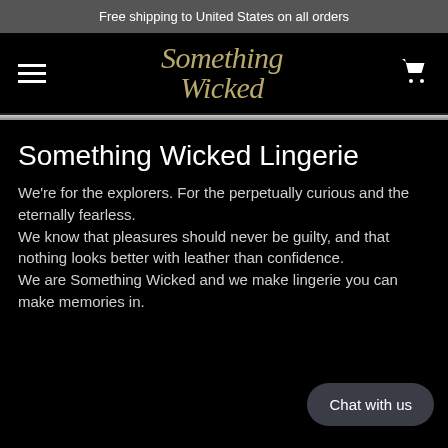Free shipping to United States on all orders
[Figure (logo): Something Wicked cursive logo in gold/tan color on black background, with hamburger menu icon on left and shopping cart icon on right]
Something Wicked Lingerie
We're for the explorers. For the perpetually curious and the eternally fearless.
We know that pleasures should never be guilty, and that nothing looks better with leather than confidence.
We are Something Wicked and we make lingerie you can make memories in.
Chat with us